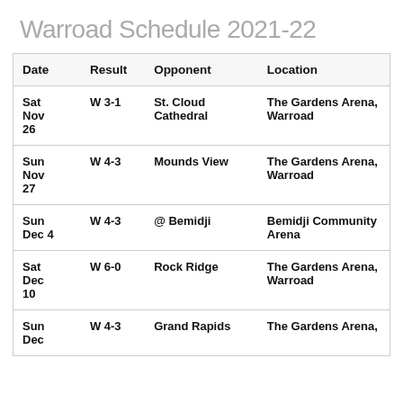Warroad Schedule 2021-22
| Date | Result | Opponent | Location |
| --- | --- | --- | --- |
| Sat Nov 26 | W 3-1 | St. Cloud Cathedral | The Gardens Arena, Warroad |
| Sun Nov 27 | W 4-3 | Mounds View | The Gardens Arena, Warroad |
| Sun Dec 4 | W 4-3 | @ Bemidji | Bemidji Community Arena |
| Sat Dec 10 | W 6-0 | Rock Ridge | The Gardens Arena, Warroad |
| Sun Dec ... | W 4-3 | Grand Rapids | The Gardens Arena, |